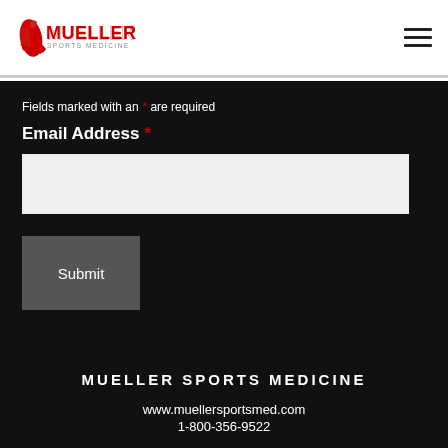[Figure (logo): Mueller Sports Medicine logo with red ankle/foot icon and red MUELLER text, SPORTS MEDICINE subtitle in gray]
Fields marked with an * are required
Email Address *
[email input field]
Submit
MUELLER SPORTS MEDICINE
www.muellersportsmed.com
1-800-356-9522